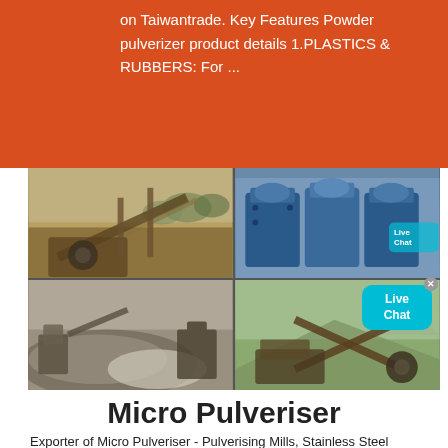on Taiwantrade. Key Features Powder pulverizer product details 1.PLASTICS & RUBBERS: For ...
[Figure (photo): Four-panel photo grid showing industrial crushing/pulverizing machinery and equipment at mining or quarry sites. Top-left: outdoor mining equipment with conveyor belts. Top-right: large blue industrial crusher machines. Bottom-left: gravel pile with processing equipment. Bottom-right: outdoor equipment on hillside.]
Micro Pulveriser
Exporter of Micro Pulveriser - Pulverising Mills, Stainless Steel Pulverizer, Micro Pulverizer and DP Micro Pulverizers offered by DP Pulveriser Industries, Mumbai